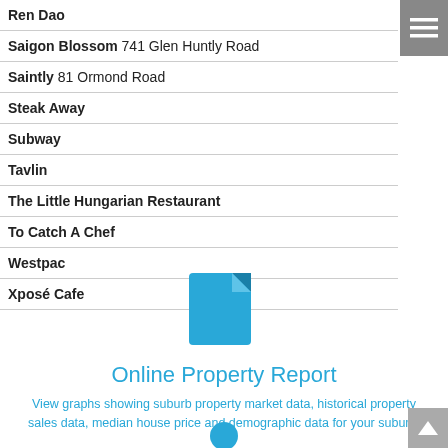Ren Dao
Saigon Blossom 741 Glen Huntly Road
Saintly 81 Ormond Road
Steak Away
Subway
Tavlin
The Little Hungarian Restaurant
To Catch A Chef
Westpac
Xposé Cafe
[Figure (illustration): Blue document/file icon]
Online Property Report
View graphs showing suburb property market data, historical property sales data, median house price and demographic data for your suburb.
[Figure (illustration): Blue circular person/user icon at bottom]